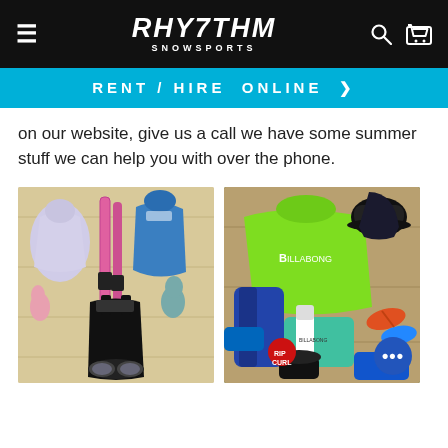Rhythm Snow Sports
RENT/HIRE ONLINE >
on our website, give us a call we have some summer stuff we can help you with over the phone.
[Figure (photo): Flatlay of ski/snow gear including jacket, pink skis, blue pullover, black bib overalls, gloves, goggles on a wooden floor]
[Figure (photo): Flatlay of summer surf/beach gear including green Billabong rash guard, Rip Curl wetsuit, hats, flip flops, and other accessories]